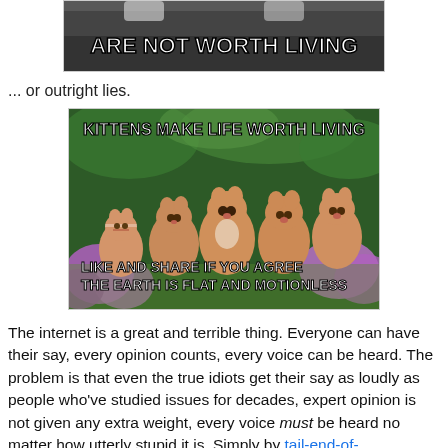[Figure (photo): Meme image top portion showing white text 'ARE NOT WORTH LIVING' on dark animal photo background]
... or outright lies.
[Figure (photo): Kitten meme image: five orange/white kittens sitting in front of purple flowers and green foliage. Top text: 'KITTENS MAKE LIFE WORTH LIVING'. Bottom text: 'LIKE AND SHARE IF YOU AGREE THE EARTH IS FLAT AND MOTIONLESS']
The internet is a great and terrible thing. Everyone can have their say, every opinion counts, every voice can be heard. The problem is that even the true idiots get their say as loudly as people who've studied issues for decades, expert opinion is not given any extra weight, every voice must be heard no matter how utterly stupid it is. Simply by tail-end-of-